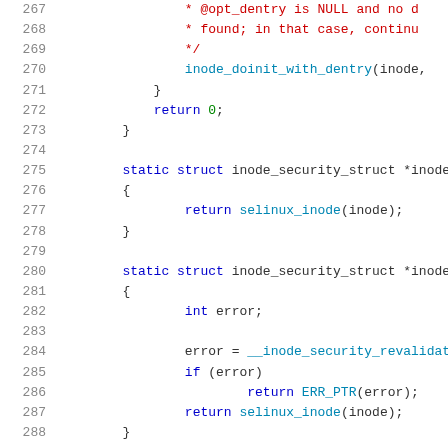[Figure (screenshot): Source code listing showing C code for Linux SELinux inode security functions, lines 267-288, with syntax highlighting: line numbers in gray, keywords in blue, comments in red, function calls in teal, numerals in green.]